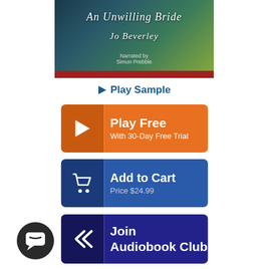[Figure (illustration): Book cover for 'An Unwilling Bride' by Jo Beverley, narrated by Simon Prebble. Dark teal and green gradient background with white decorative script title and red bar at bottom.]
▶ Play Sample
[Figure (screenshot): Orange 'Play Free / With 30-Day Free Trial' button with play triangle icon on left]
[Figure (screenshot): Blue 'Add to Cart / Price $24.99' button with shopping cart icon on left]
[Figure (screenshot): Dark navy 'Join Audiobook Club' button with double chevron icon on left]
Book Rating (18)
[Figure (other): 4 out of 5 stars rating display with orange filled stars and one empty star]